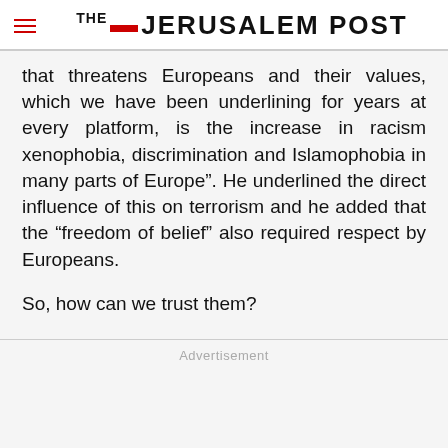THE JERUSALEM POST
that threatens Europeans and their values, which we have been underlining for years at every platform, is the increase in racism xenophobia, discrimination and Islamophobia in many parts of Europe”. He underlined the direct influence of this on terrorism and he added that the “freedom of belief” also required respect by Europeans.
So, how can we trust them?
Advertisement